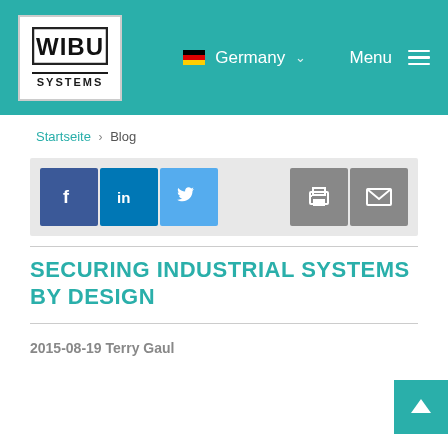WIBU-SYSTEMS | Germany | Menu
Startseite › Blog
[Figure (infographic): Social sharing buttons: Facebook, LinkedIn, Twitter, Print, Email]
SECURING INDUSTRIAL SYSTEMS BY DESIGN
2015-08-19 Terry Gaul